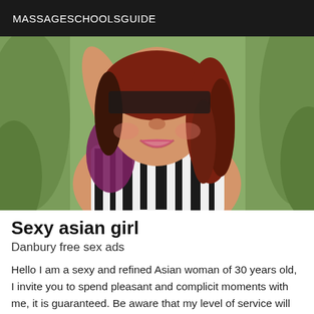MASSAGESCHOOLSGUIDE
[Figure (photo): A smiling woman with curly red-brown hair wearing a zebra-print top and purple top, raising one arm, photographed outdoors with green foliage in the background.]
Sexy asian girl
Danbury free sex ads
Hello I am a sexy and refined Asian woman of 30 years old, I invite you to spend pleasant and complicit moments with me, it is guaranteed. Be aware that my level of service will not disappoint your expectations. I